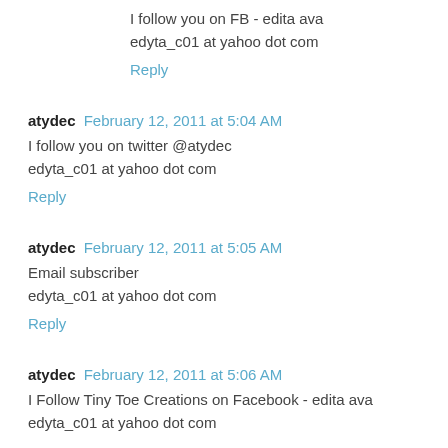I follow you on FB - edita ava
edyta_c01 at yahoo dot com
Reply
atydec  February 12, 2011 at 5:04 AM
I follow you on twitter @atydec
edyta_c01 at yahoo dot com
Reply
atydec  February 12, 2011 at 5:05 AM
Email subscriber
edyta_c01 at yahoo dot com
Reply
atydec  February 12, 2011 at 5:06 AM
I Follow Tiny Toe Creations on Facebook - edita ava
edyta_c01 at yahoo dot com